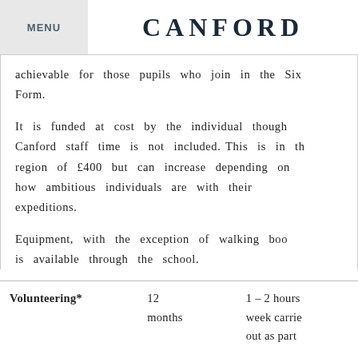MENU | CANFORD
achievable for those pupils who join in the Six Form.
It is funded at cost by the individual though Canford staff time is not included. This is in the region of £400 but can increase depending on how ambitious individuals are with their expeditions.
Equipment, with the exception of walking boots, is available through the school.
|  |  |  |
| --- | --- | --- |
| Volunteering* | 12
months | 1 – 2 hours
week carrie
out as part |